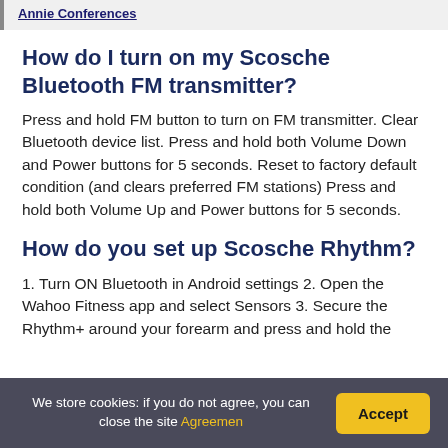Annie Conferences
How do I turn on my Scosche Bluetooth FM transmitter?
Press and hold FM button to turn on FM transmitter. Clear Bluetooth device list. Press and hold both Volume Down and Power buttons for 5 seconds. Reset to factory default condition (and clears preferred FM stations) Press and hold both Volume Up and Power buttons for 5 seconds.
How do you set up Scosche Rhythm?
1. Turn ON Bluetooth in Android settings 2. Open the Wahoo Fitness app and select Sensors 3. Secure the Rhythm+ around your forearm and press and hold the
We store cookies: if you do not agree, you can close the site Agreemen